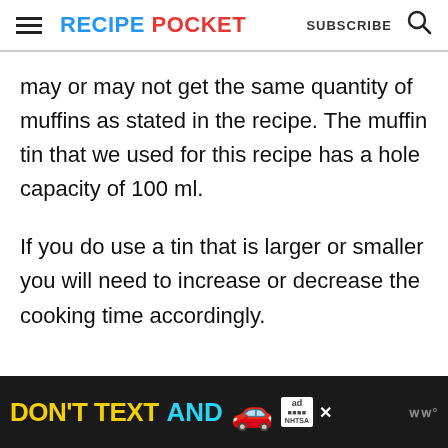RECIPE POCKET  SUBSCRIBE
may or may not get the same quantity of muffins as stated in the recipe. The muffin tin that we used for this recipe has a hole capacity of 100 ml.
If you do use a tin that is larger or smaller you will need to increase or decrease the cooking time accordingly.
[Figure (other): Advertisement banner: dark background with yellow 'DON'T TEXT' and cyan 'AND' text, a red car emoji, NHTSA ad logo, and Weather Channel logo marks]